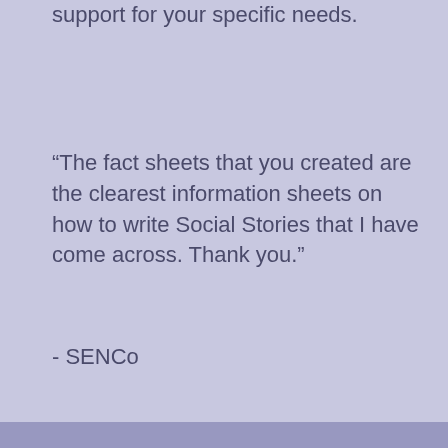support for your specific needs.
“The fact sheets that you created are the clearest information sheets on how to write Social Stories that I have come across. Thank you.”
- SENCo